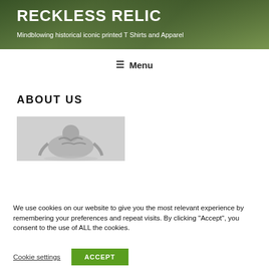RECKLESS RELIC
Mindblowing historical iconic printed T Shirts and Apparel
≡ Menu
ABOUT US
[Figure (photo): Grayscale photo of a historical printed t-shirt or apparel item]
We use cookies on our website to give you the most relevant experience by remembering your preferences and repeat visits. By clicking "Accept", you consent to the use of ALL the cookies.
Cookie settings   ACCEPT